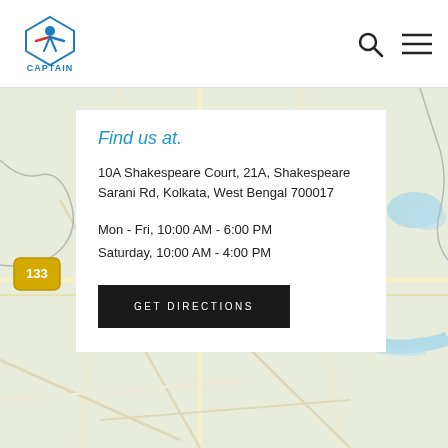[Figure (map): Google Maps style street map showing Kolkata area with roads, water features, and a location marker near Rajaram area.]
CAPTAIN logo with search and menu icons
Find us at.
10A Shakespeare Court, 21A, Shakespeare Sarani Rd, Kolkata, West Bengal 700017
Mon - Fri, 10:00 AM - 6:00 PM
Saturday, 10:00 AM - 4:00 PM
GET DIRECTIONS